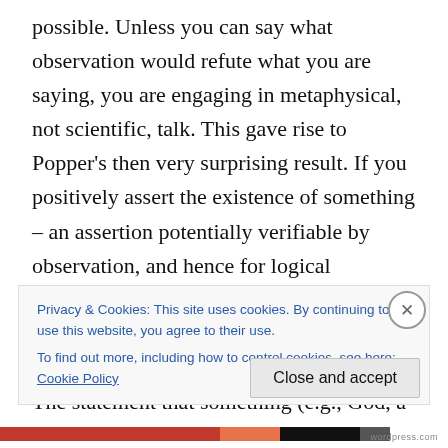possible. Unless you can say what observation would refute what you are saying, you are engaging in metaphysical, not scientific, talk. This gave rise to Popper's then very surprising result. If you positively assert the existence of something – an assertion potentially verifiable by observation, and hence for logical positivists the quintessential scientific statement — you are making a metaphysical, not a scientific, statement. The statement that something (e.g., God, a string, or a utility function) exists cannot be refuted by any observation. However the unobservable phenomenon may be part of a
Privacy & Cookies: This site uses cookies. By continuing to use this website, you agree to their use.
To find out more, including how to control cookies, see here: Cookie Policy
Close and accept